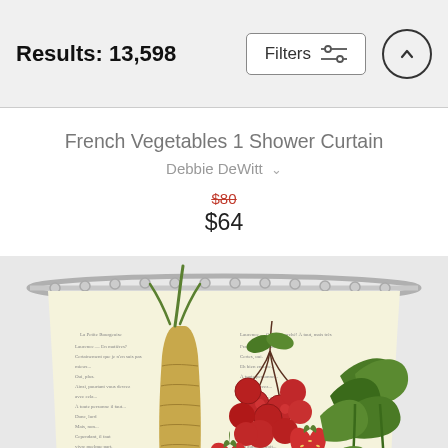Results: 13,598
French Vegetables 1 Shower Curtain
Debbie DeWitt
$80  $64
[Figure (photo): Shower curtain hung on a curved rod, featuring a vintage French botanical illustration with vegetables including a parsnip/carrot, red cherries, strawberries, and green herbs/plants overlaid on antique French text pages, cream/yellow background.]